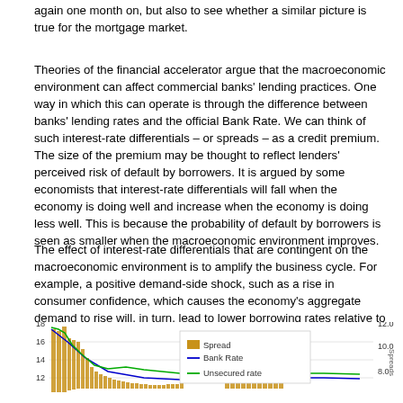again one month on, but also to see whether a similar picture is true for the mortgage market.
Theories of the financial accelerator argue that the macroeconomic environment can affect commercial banks' lending practices. One way in which this can operate is through the difference between banks' lending rates and the official Bank Rate. We can think of such interest-rate differentials – or spreads – as a credit premium. The size of the premium may be thought to reflect lenders' perceived risk of default by borrowers. It is argued by some economists that interest-rate differentials will fall when the economy is doing well and increase when the economy is doing less well. This is because the probability of default by borrowers is seen as smaller when the macroeconomic environment improves.
The effect of interest-rate differentials that are contingent on the macroeconomic environment is to amplify the business cycle. For example, a positive demand-side shock, such as a rise in consumer confidence, which causes the economy's aggregate demand to rise will, in turn, lead to lower borrowing rates relative to the official Bank Rate. This financial effect further stimulates the demand for credit and, as a consequence, aggregate demand and economic activity. It is an example of what economists called the financial accelerator.
[Figure (line-chart): Chart showing Spread (bar), Bank Rate (blue line), and Unsecured rate (green line) over time. Left y-axis ranges from 12 to 18, right y-axis shows Spreads from 8.0 to 12.0.]